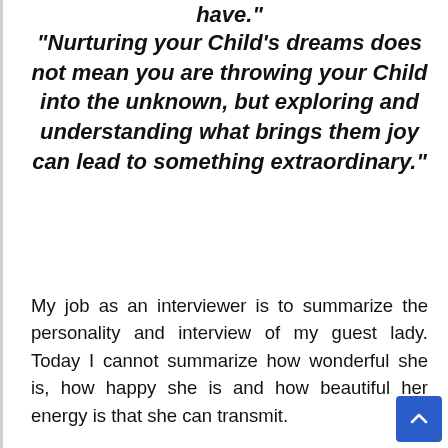have.
“Nurturing your Child’s dreams does not mean you are throwing your Child into the unknown, but exploring and understanding what brings them joy can lead to something extraordinary.”
My job as an interviewer is to summarize the personality and interview of my guest lady. Today I cannot summarize how wonderful she is, how happy she is and how beautiful her energy is that she can transmit.